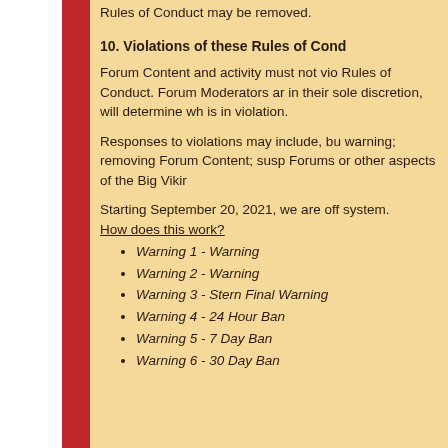Rules of Conduct may be removed.
10. Violations of these Rules of Conduct
Forum Content and activity must not violate these Rules of Conduct. Forum Moderators and Big Viking Games, in their sole discretion, will determine whether Forum Content is in violation.
Responses to violations may include, but are not limited to, warning; removing Forum Content; suspending access to Forums or other aspects of the Big Viking Games services.
Starting September 20, 2021, we are offering a warning system.
How does this work?
Warning 1 - Warning
Warning 2 - Warning
Warning 3 - Stern Final Warning
Warning 4 - 24 Hour Ban
Warning 5 - 7 Day Ban
Warning 6 - 30 Day Ban